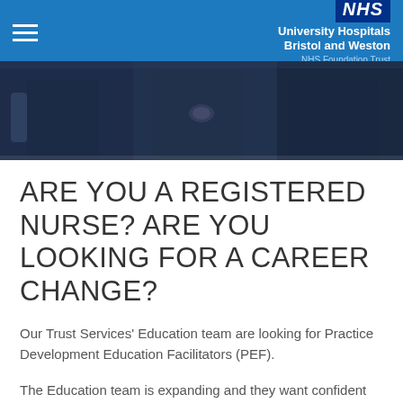NHS University Hospitals Bristol and Weston NHS Foundation Trust
[Figure (photo): Photo of nurses in dark navy uniforms, cropped at torso level, three individuals visible.]
ARE YOU A REGISTERED NURSE? ARE YOU LOOKING FOR A CAREER CHANGE?
Our Trust Services’ Education team are looking for Practice Development Education Facilitators (PEF).
The Education team is expanding and they want confident individuals to play a crucial part in leading a newly formed team and be responsible for the planning and delivery of the Trust’s practice development